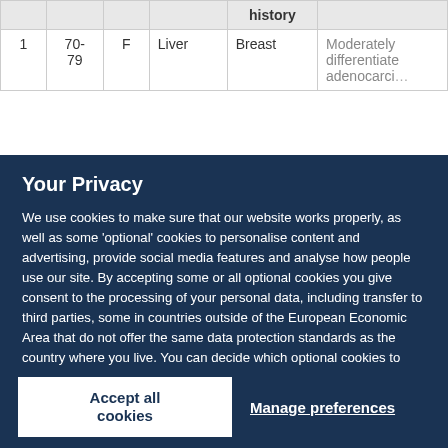|  |  |  |  | history |  |
| --- | --- | --- | --- | --- | --- |
| 1 | 70-79 | F | Liver | Breast | Moderately differentiated adenocarci... |
Your Privacy
We use cookies to make sure that our website works properly, as well as some 'optional' cookies to personalise content and advertising, provide social media features and analyse how people use our site. By accepting some or all optional cookies you give consent to the processing of your personal data, including transfer to third parties, some in countries outside of the European Economic Area that do not offer the same data protection standards as the country where you live. You can decide which optional cookies to accept by clicking on 'Manage Settings', where you can also find more information about how your personal data is processed. Further information can be found in our privacy policy.
Accept all cookies
Manage preferences